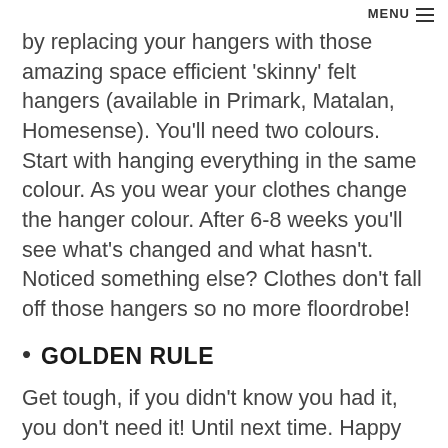MENU
by replacing your hangers with those amazing space efficient 'skinny' felt hangers (available in Primark, Matalan, Homesense). You'll need two colours. Start with hanging everything in the same colour. As you wear your clothes change the hanger colour. After 6-8 weeks you'll see what's changed and what hasn't. Noticed something else? Clothes don't fall off those hangers so no more floordrobe!
GOLDEN RULE
Get tough, if you didn't know you had it, you don't need it! Until next time. Happy homemaking.